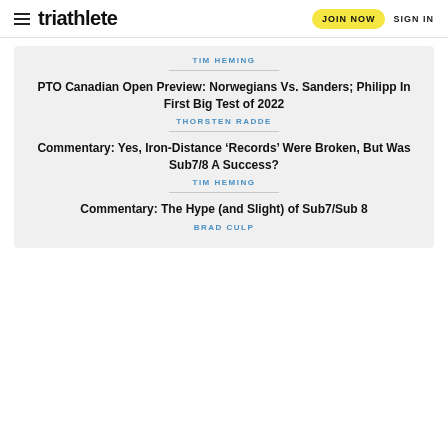triathlete  JOIN NOW  SIGN IN
TIM HEMING
PTO Canadian Open Preview: Norwegians Vs. Sanders; Philipp In First Big Test of 2022
THORSTEN RADDE
Commentary: Yes, Iron-Distance ‘Records’ Were Broken, But Was Sub7/8 A Success?
TIM HEMING
Commentary: The Hype (and Slight) of Sub7/Sub 8
BRAD CULP